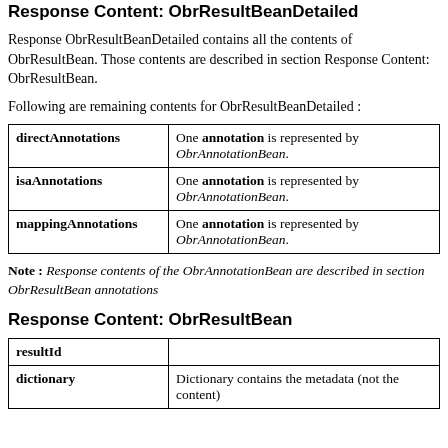Response Content: ObrResultBeanDetailed
Response ObrResultBeanDetailed contains all the contents of ObrResultBean. Those contents are described in section Response Content: ObrResultBean.
Following are remaining contents for ObrResultBeanDetailed :
| directAnnotations | One annotation is represented by ObrAnnotationBean. |
| isaAnnotations | One annotation is represented by ObrAnnotationBean. |
| mappingAnnotations | One annotation is represented by ObrAnnotationBean. |
Note : Response contents of the ObrAnnotationBean are described in section ObrResultBean annotations
Response Content: ObrResultBean
| resultId |  |
| dictionary | Dictionary contains the metadata (not the content) |